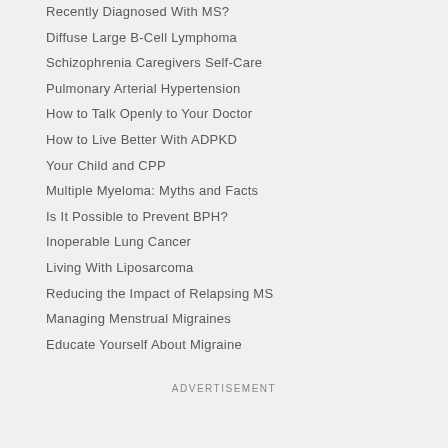Recently Diagnosed With MS?
Diffuse Large B-Cell Lymphoma
Schizophrenia Caregivers Self-Care
Pulmonary Arterial Hypertension
How to Talk Openly to Your Doctor
How to Live Better With ADPKD
Your Child and CPP
Multiple Myeloma: Myths and Facts
Is It Possible to Prevent BPH?
Inoperable Lung Cancer
Living With Liposarcoma
Reducing the Impact of Relapsing MS
Managing Menstrual Migraines
Educate Yourself About Migraine
ADVERTISEMENT